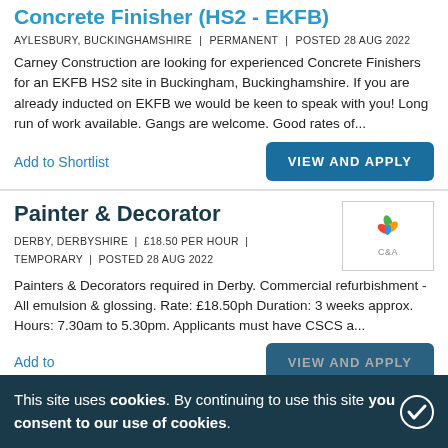Concrete Finisher (HS2 - EKFB)
AYLESBURY, BUCKINGHAMSHIRE | PERMANENT | POSTED 28 AUG 2022
Carney Construction are looking for experienced Concrete Finishers for an EKFB HS2 site in Buckingham, Buckinghamshire. If you are already inducted on EKFB we would be keen to speak with you! Long run of work available. Gangs are welcome. Good rates of...
Add to Shortlist
VIEW AND APPLY
Painter & Decorator
[Figure (logo): C&A company logo with colorful leaf icon]
DERBY, DERBYSHIRE | £18.50 PER HOUR | TEMPORARY | POSTED 28 AUG 2022
Painters & Decorators required in Derby. Commercial refurbishment - All emulsion & glossing. Rate: £18.50ph Duration: 3 weeks approx. Hours: 7.30am to 5.30pm. Applicants must have CSCS a...
Add to Shortlist
VIEW AND APPLY
This site uses cookies. By continuing to use this site you consent to our use of cookies.